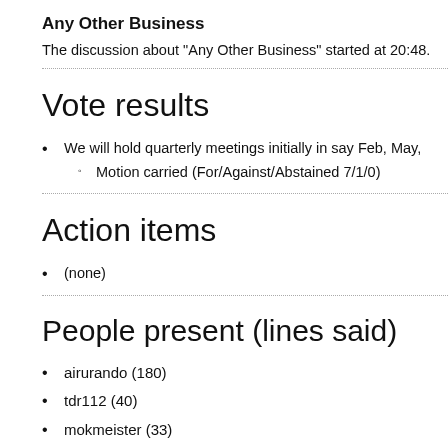Any Other Business
The discussion about "Any Other Business" started at 20:48.
Vote results
We will hold quarterly meetings initially in say Feb, May,
Motion carried (For/Against/Abstained 7/1/0)
Action items
(none)
People present (lines said)
airurando (180)
tdr112 (40)
mokmeister (33)
Belgarath (29)